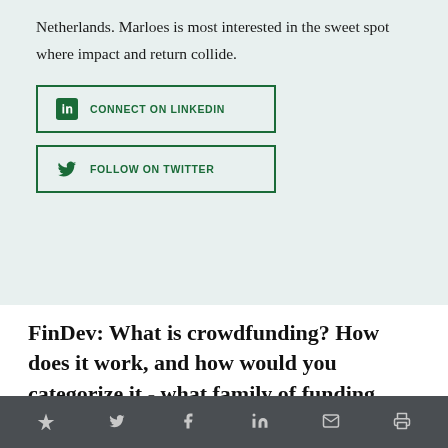Netherlands. Marloes is most interested in the sweet spot where impact and return collide.
[Figure (other): CONNECT ON LINKEDIN button with LinkedIn icon, green border]
[Figure (other): FOLLOW ON TWITTER button with Twitter bird icon, green border]
FinDev: What is crowdfunding? How does it work, and how would you categorize it - what family of funding does it belong to?
★  🐦  f  in  ✉  🖨